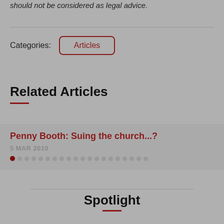should not be considered as legal advice.
Categories: Articles
Related Articles
Penny Booth: Suing the church...?
5 MAR 2010
Spotlight